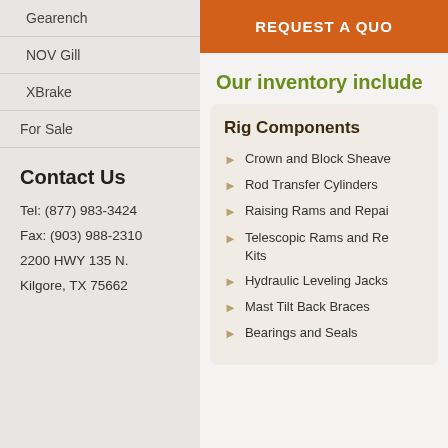Gearench
NOV Gill
XBrake
For Sale
Contact Us
Tel: (877) 983-3424
Fax: (903) 988-2310
2200 HWY 135 N.
Kilgore, TX 75662
REQUEST A QUO
Our inventory include
Rig Components
Crown and Block Sheave
Rod Transfer Cylinders
Raising Rams and Repai
Telescopic Rams and Re Kits
Hydraulic Leveling Jacks
Mast Tilt Back Braces
Bearings and Seals